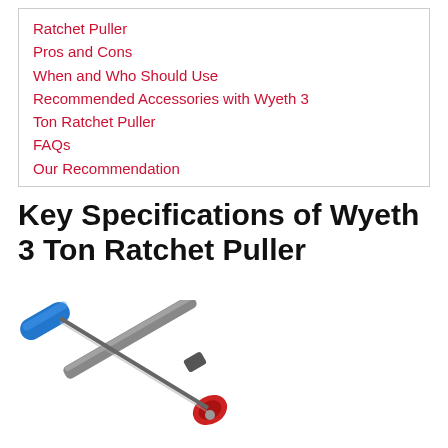Ratchet Puller
Pros and Cons
When and Who Should Use
Recommended Accessories with Wyeth 3 Ton Ratchet Puller
FAQs
Our Recommendation
Key Specifications of Wyeth 3 Ton Ratchet Puller
[Figure (photo): Photo of a Wyeth 3 Ton Ratchet Puller tool with a blue handle and silver/grey shaft, shown at an angle]